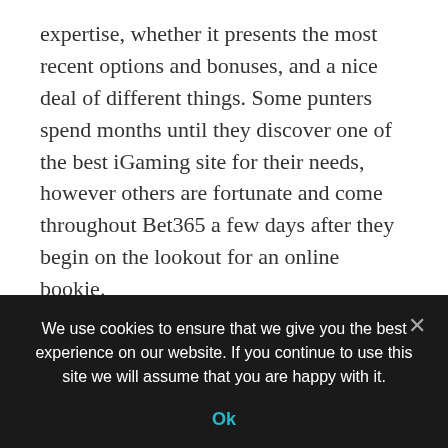expertise, whether it presents the most recent options and bonuses, and a nice deal of different things. Some punters spend months until they discover one of the best iGaming site for their needs, however others are fortunate and come throughout Bet365 a few days after they begin on the lookout for an online bookie.
At the specified email handle you will obtain a promotional code that you should keep if you first recharge your account via login page. This is a basic Bet365 log in first deposit bonus of 100 percent of the replenishment amount. To use it, you need to put down the [truncated]
We use cookies to ensure that we give you the best experience on our website. If you continue to use this site we will assume that you are happy with it.
Ok